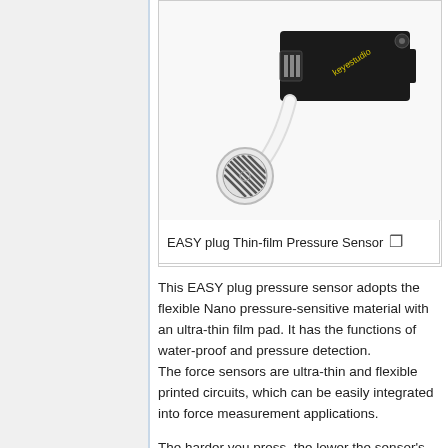[Figure (photo): EASY plug Thin-film Pressure Sensor — a Keyestudio sensor module on a black PCB with a circular pressure-sensitive pad at the end of a flexible transparent cable]
EASY plug Thin-film Pressure Sensor
This EASY plug pressure sensor adopts the flexible Nano pressure-sensitive material with an ultra-thin film pad. It has the functions of water-proof and pressure detection. The force sensors are ultra-thin and flexible printed circuits, which can be easily integrated into force measurement applications.
The harder you press, the lower the sensor's resistance.